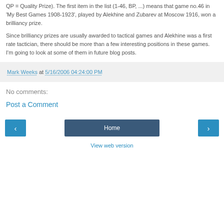QP = Quality Prize). The first item in the list (1-46, BP, ...) means that game no.46 in 'My Best Games 1908-1923', played by Alekhine and Zubarev at Moscow 1916, won a brilliancy prize.
Since brilliancy prizes are usually awarded to tactical games and Alekhine was a first rate tactician, there should be more than a few interesting positions in these games. I'm going to look at some of them in future blog posts.
Mark Weeks at 5/16/2006 04:24:00 PM
No comments:
Post a Comment
Home
View web version